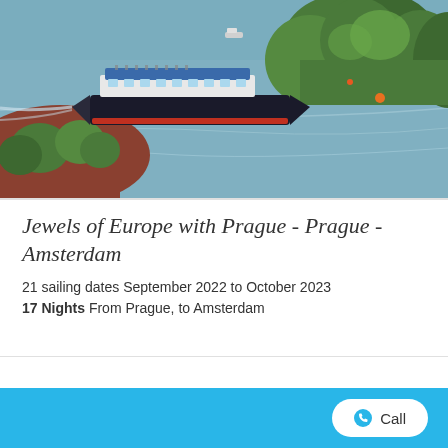[Figure (photo): Aerial view of a river cruise ship on a wide river surrounded by green trees and lush vegetation, viewed from above. The ship is large and dark-hulled with a blue top deck structure.]
Jewels of Europe with Prague - Prague - Amsterdam
21 sailing dates September 2022 to October 2023
17 Nights From Prague, to Amsterdam
[Figure (logo): Scenic Luxury Cruises & Tours logo in gold/tan color]
FROM £3639pp
Call